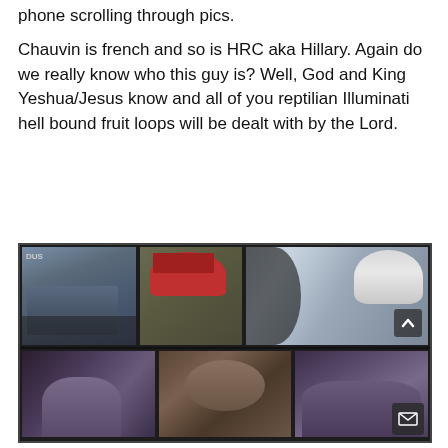phone scrolling through pics.
Chauvin is french and so is HRC aka Hillary. Again do we really know who this guy is? Well, God and King Yeshua/Jesus know and all of you reptilian Illuminati hell bound fruit loops will be dealt with by the Lord.
[Figure (photo): Collage of multiple photos including a police officer kneeling, a person in a red MAGA hat, a young man in a white beanie looking at a phone, a dark silhouette figure, a group scene, a close-up face, and a couple scene.]